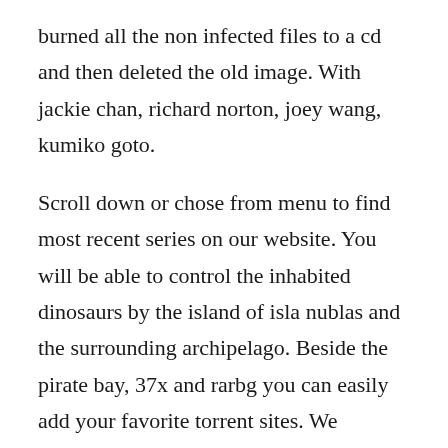burned all the non infected files to a cd and then deleted the old image. With jackie chan, richard norton, joey wang, kumiko goto.
Scroll down or chose from menu to find most recent series on our website. You will be able to control the inhabited dinosaurs by the island of isla nublas and the surrounding archipelago. Beside the pirate bay, 37x and rarbg you can easily add your favorite torrent sites. We provide you 100% working game torrent setup, full.
City hunter 1993 remastered in 1080p